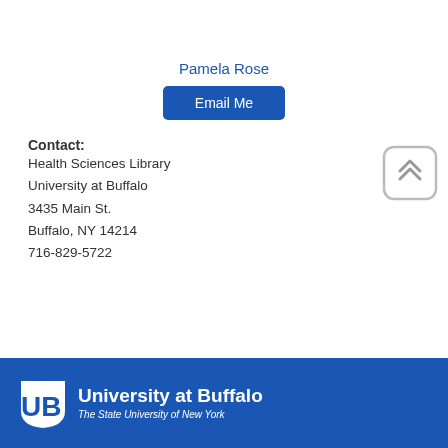[Figure (photo): Partial photo of a person in a beige/khaki jacket, cropped at the top of the page]
Pamela Rose
Email Me
Contact:
Health Sciences Library
University at Buffalo
3435 Main St.
Buffalo, NY 14214
716-829-5722
[Figure (other): Scroll-to-top button with double chevron up arrows]
University at Buffalo
The State University of New York